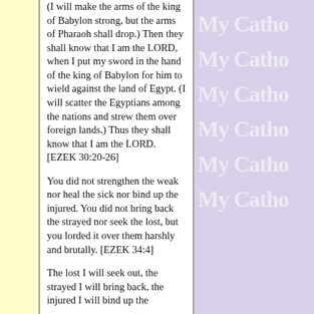(I will make the arms of the king of Babylon strong, but the arms of Pharaoh shall drop.) Then they shall know that I am the LORD, when I put my sword in the hand of the king of Babylon for him to wield against the land of Egypt. (I will scatter the Egyptians among the nations and strew them over foreign lands.) Thus they shall know that I am the LORD. [EZEK 30:20-26]
You did not strengthen the weak nor heal the sick nor bind up the injured. You did not bring back the strayed nor seek the lost, but you lorded it over them harshly and brutally. [EZEK 34:4]
The lost I will seek out, the strayed I will bring back, the injured I will bind up the...